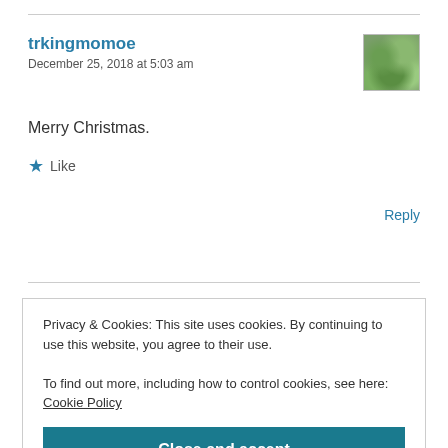trkingmomoe
December 25, 2018 at 5:03 am
Merry Christmas.
★ Like
Reply
Privacy & Cookies: This site uses cookies. By continuing to use this website, you agree to their use.
To find out more, including how to control cookies, see here: Cookie Policy
Close and accept